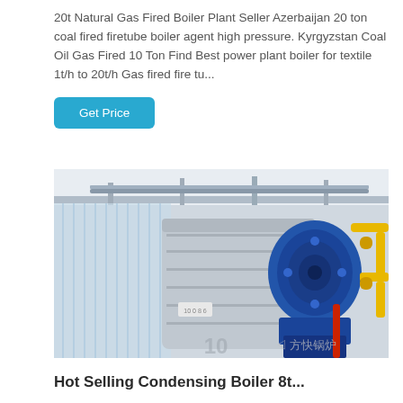20t Natural Gas Fired Boiler Plant Seller Azerbaijan 20 ton coal fired firetube boiler agent high pressure. Kyrgyzstan Coal Oil Gas Fired 10 Ton Find Best power plant boiler for textile 1t/h to 20t/h Gas fired fire tu...
Get Price
[Figure (photo): Industrial boiler plant interior showing a large grey cylindrical boiler with blue burner/motor assembly on the right side and yellow gas pipes. Chinese watermark text visible in lower right corner.]
Hot Selling Condensing Boiler 8t...